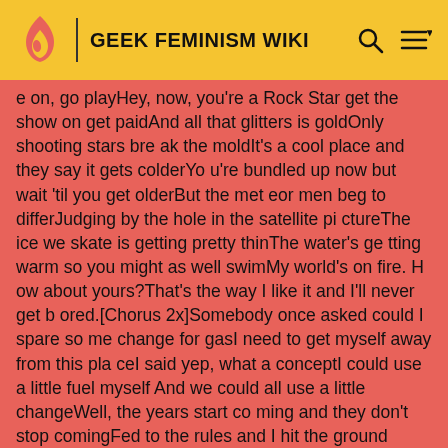GEEK FEMINISM WIKI
e on, go playHey, now, you're a Rock Star get the show on get paidAnd all that glitters is goldOnly shooting stars break the moldIt's a cool place and they say it gets colderYou're bundled up now but wait 'til you get olderBut the meteor men beg to differJudging by the hole in the satellite pictureThe ice we skate is getting pretty thinThe water's getting warm so you might as well swimMy world's on fire. How about yours?That's the way I like it and I'll never get bored.[Chorus 2x]Somebody once asked could I spare some change for gasI need to get myself away from this placeI said yep, what a conceptI could use a little fuel myselfAnd we could all use a little changeWell, the years start coming and they don't stop comingFed to the rules and I hit the ground runningDidn't make sense not to live for funYour brain gets smart but your head gets dumbSo much to do so much to seeSo what's wrong with taking the back streetsYou'll never know if you don't goYou'll never shine if you don't glow.[Chorus]And all that glitters is goldOnly shootin' stars break the mold] ==